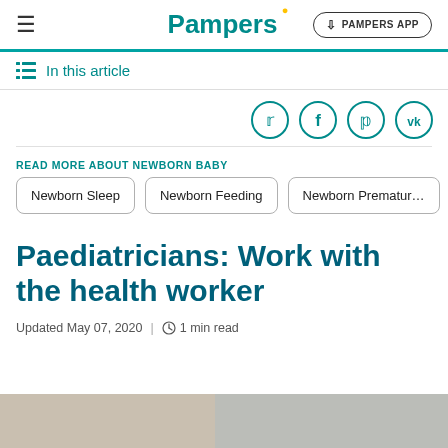Pampers
In this article
[Figure (other): Social sharing icons: Twitter, Facebook, Pinterest, VK — teal circle outlines]
READ MORE ABOUT NEWBORN BABY
Newborn Sleep
Newborn Feeding
Newborn Premature
Paediatricians: Work with the health worker
Updated May 07, 2020  |  1 min read
[Figure (photo): Bottom partial image strip showing what appears to be a medical or home setting]